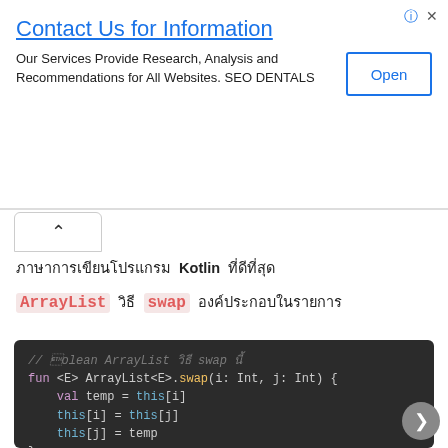[Figure (screenshot): Advertisement banner: Contact Us for Information with Open button]
ภาษาการเขียนโปรแกรม Kotlin ที่ดีที่สุด
ArrayList วิธี swap องค์ประกอบในรายการ
[Figure (screenshot): Kotlin code block showing ArrayList swap extension function and main function with arrayListOf example]